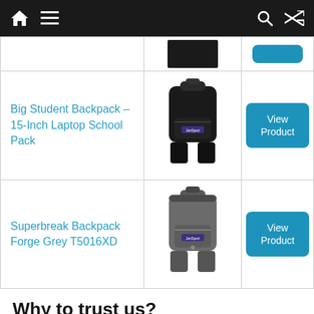Navigation bar with home, menu, search, and shuffle icons
[Figure (screenshot): Partial product row at top showing a black backpack image and a blue View Product button (both partially cut off)]
Big Student Backpack – 15-Inch Laptop School Pack
[Figure (photo): Black JanSport Big Student Backpack]
[Figure (other): Blue 'View Product' button]
Superbreak Backpack Forge Grey T5016XD
[Figure (photo): Grey JanSport Superbreak Backpack Forge Grey T5016XD]
[Figure (other): Blue 'View Product' button]
Why to trust us?
When a customer is ready to buy a black jansport backpack cheap, that means they become